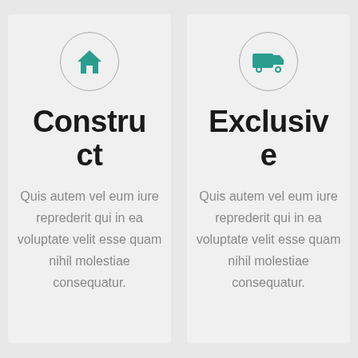[Figure (illustration): Circle icon with a teal house/home symbol]
Construct
Quis autem vel eum iure reprederit qui in ea voluptate velit esse quam nihil molestiae consequatur.
[Figure (illustration): Circle icon with a teal delivery truck symbol]
Exclusive
Quis autem vel eum iure reprederit qui in ea voluptate velit esse quam nihil molestiae consequatur.